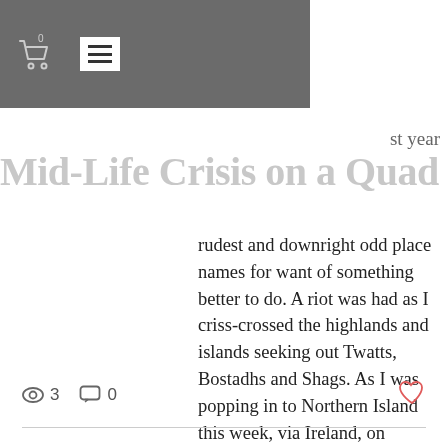Navigation bar with cart (0) and hamburger menu
Mid-Life Crisis on a Quad
st year
rudest and downright odd place names for want of something better to do. A riot was had as I criss-crossed the highlands and islands seeking out Twatts, Bostadhs and Shags. As I was popping in to Northern Island this week, via Ireland, on Fierce Fanny I was tasked with finding out Ireland's equivalents. Ladies and Gentlemen, I give you... Thankfully this wasn't a Sadventure: But I drove quickly t
3 views, 0 comments, like button